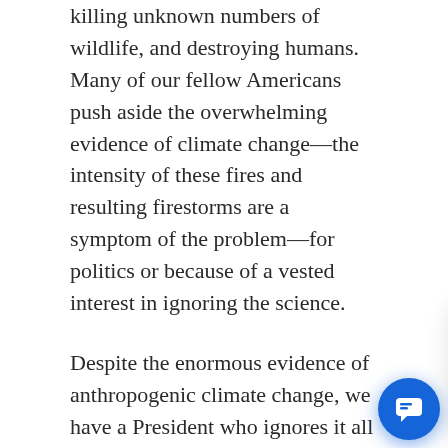killing unknown numbers of wildlife, and destroying humans. Many of our fellow Americans push aside the overwhelming evidence of climate change—the intensity of these fires and resulting firestorms are a symptom of the problem—for politics or because of a vested interest in ignoring the science.
Despite the enormous evidence of anthropogenic climate change, we have a President who ignores it all and tells people to [obscured] an unsophisticated, u[obscured] attitude exists in 21st c[obscured]
We are returning to the Dark Ages where mysti[cs] and charlatans guided decisions absent any ra[tional] basis. They hide their actions from us by the smoke